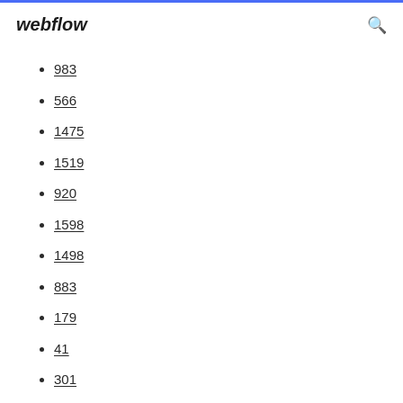webflow
983
566
1475
1519
920
1598
1498
883
179
41
301
387